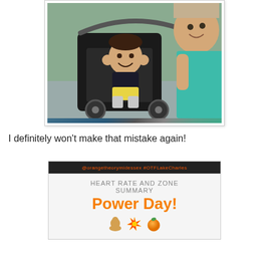[Figure (photo): A selfie photo of a woman in a teal/turquoise athletic top taking a photo with a young toddler sitting in a black jogging stroller. The child is smiling and holding their face/ears with both hands. Outdoor setting.]
I definitely won't make that mistake again!
[Figure (screenshot): A screenshot of a Heart Rate and Zone Summary card showing 'Power Day!' in large orange text with emoji icons (flexing arm, explosion/star burst, orange fruit). A dark banner at the top reads '@orangetheorymidessex #OTFLakeCharles'.]